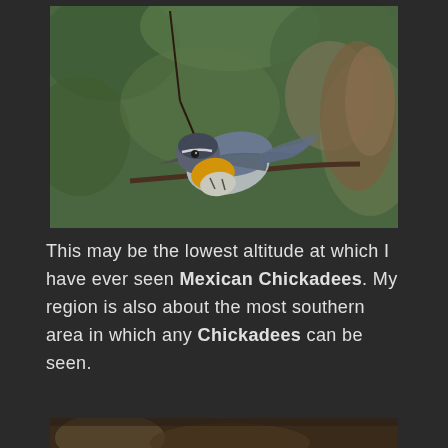[Figure (photo): A small bird with gray-blue head and wings, yellow-orange breast, perched on a thin branch against a blurred green background. Likely a warbler or similar small songbird.]
This may be the lowest altitude at which I have ever seen Mexican Chickadees. My region is also about the most southern area in which any Chickadees can be seen.
[Figure (photo): Partial view of another bird photograph at the bottom of the page, cropped.]